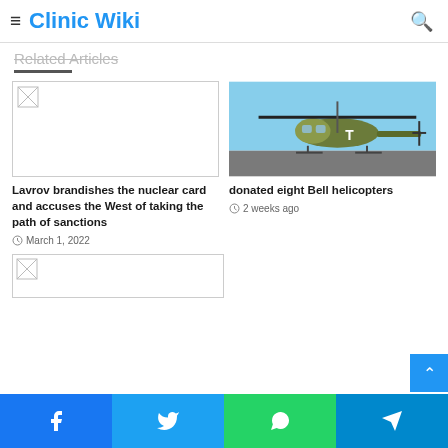Clinic Wiki
Related Articles
[Figure (photo): Broken image placeholder for first article]
Lavrov brandishes the nuclear card and accuses the West of taking the path of sanctions
March 1, 2022
[Figure (photo): Military helicopter (Bell helicopter) on tarmac]
donated eight Bell helicopters
2 weeks ago
[Figure (photo): Broken image placeholder for third article (partial view)]